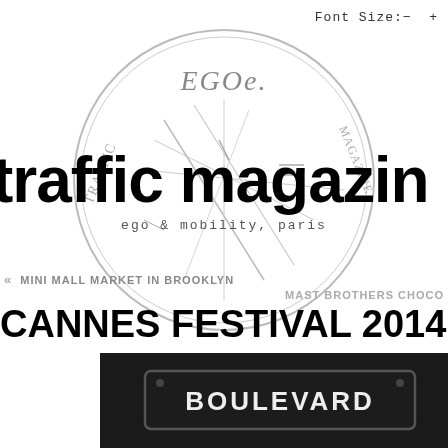Font Size: - +
[Figure (illustration): Circular hand-drawn stamp logo with text 'EGOe.' at top and 'TRAFFIC' / 'MAGAZINE' around the circle border, with diagonal line sketch marks inside]
traffic magazine
ego & mobility, paris
« MINI MALL MARKET IN BROOKLYN
MAST BROTHERS CHOCO
CANNES FESTIVAL 2014 line up
[Figure (photo): Black and white photograph showing a street sign or plaque reading 'BOULEVARD']